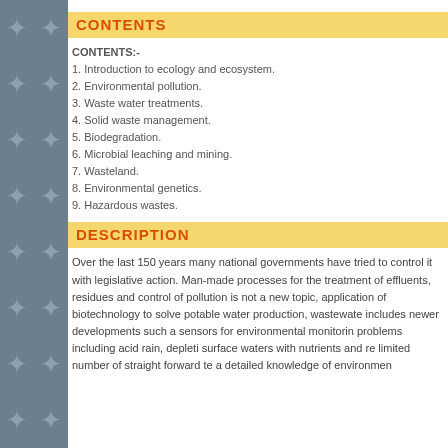CONTENTS
CONTENTS:-
1. Introduction to ecology and ecosystem.
2. Environmental pollution.
3. Waste water treatments.
4. Solid waste management.
5. Biodegradation.
6. Microbial leaching and mining.
7. Wasteland.
8. Environmental genetics.
9. Hazardous wastes.
DESCRIPTION
Over the last 150 years many national governments have tried to control it with legislative action. Man-made processes for the treatment of effluents, residues and control of pollution is not a new topic, but the application of biotechnology to solve environmental problems of potable water production, wastewater treatment and waste disposal includes newer developments such as the use of biosensors for environmental monitoring. Global environmental problems including acid rain, depletion of ozone layer, enrichment of surface waters with nutrients and reduction of biodiversity need more than a limited number of straight forward technical solutions. They also need a detailed knowledge of environmental...